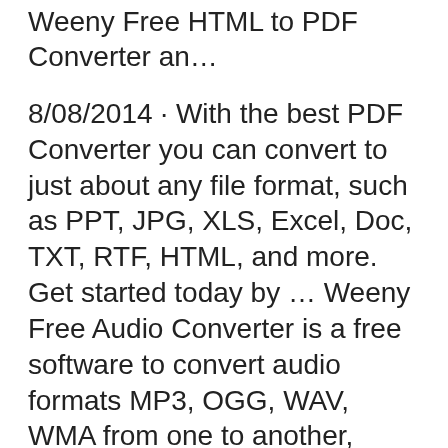Weeny Free HTML to PDF Converter an…
8/08/2014 · With the best PDF Converter you can convert to just about any file format, such as PPT, JPG, XLS, Excel, Doc, TXT, RTF, HTML, and more. Get started today by … Weeny Free Audio Converter is a free software to convert audio formats MP3, OGG, WAV, WMA from one to another, such as converting MP3 to WAV and WMA, WAV to MP3 and WMA.
Weeny Free Audio Converter is a free software to convert audio formats MP3, OGG, WAV, WMA from one to another, such as converting MP3 to WAV and WMA, WAV to MP3 and WMA. The …